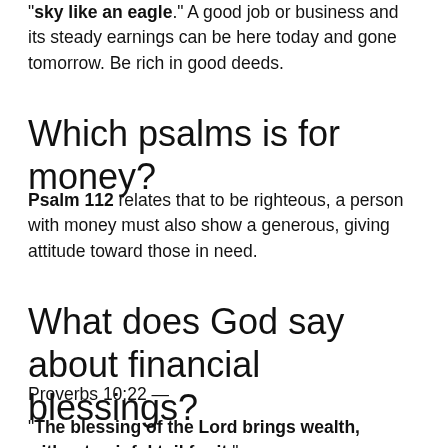"sky like an eagle." A good job or business and its steady earnings can be here today and gone tomorrow. Be rich in good deeds.
Which psalms is for money?
Psalm 112 relates that to be righteous, a person with money must also show a generous, giving attitude toward those in need.
What does God say about financial blessings?
Proverbs 10:22 —
"The blessing of the Lord brings wealth, without painful toil for it."